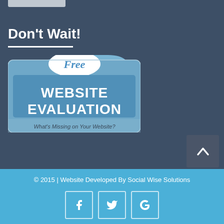Don't Wait!
[Figure (illustration): Free Website Evaluation promotional image with blue folder graphic and text 'WEBSITE EVALUATION - What's Missing on Your Website?']
© 2015 | Website Developed By Social Wise Solutions
[Figure (infographic): Social media icons: Facebook, Twitter, Google+]